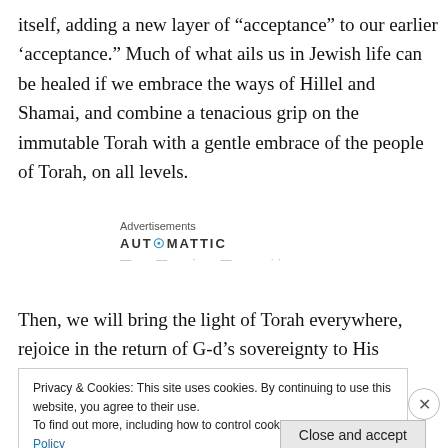itself, adding a new layer of “acceptance” to our earlier ‘acceptance.” Much of what ails us in Jewish life can be healed if we embrace the ways of Hillel and Shamai, and combine a tenacious grip on the immutable Torah with a gentle embrace of the people of Torah, on all levels.
Advertisements
AUTOMATTIC
Then, we will bring the light of Torah everywhere, rejoice in the return of G-d’s sovereignty to His world, and merit true
Privacy & Cookies: This site uses cookies. By continuing to use this website, you agree to their use.
To find out more, including how to control cookies, see here: Cookie Policy
Close and accept